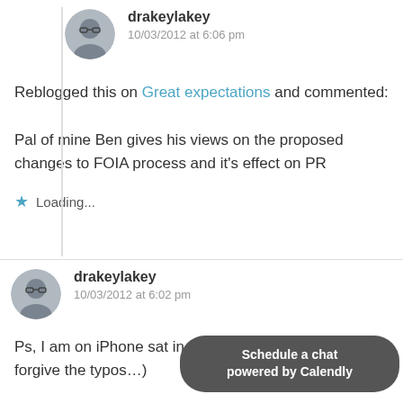[Figure (photo): Circular avatar of user drakeylakey, top comment]
drakeylakey
10/03/2012 at 6:06 pm
Reblogged this on Great expectations and commented:
Pal of mine Ben gives his views on the proposed changes to FOIA process and it's effect on PR
Loading...
[Figure (photo): Circular avatar of user drakeylakey, bottom comment]
drakeylakey
10/03/2012 at 6:02 pm
Ps, I am on iPhone sat in ho forgive the typos…)